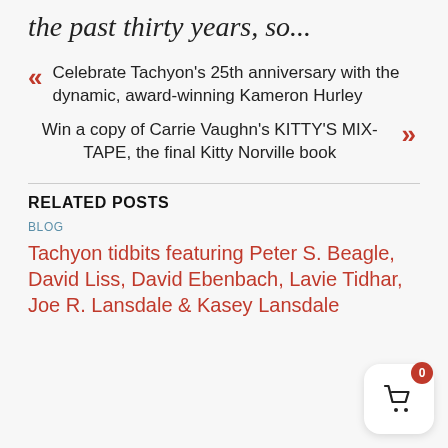the past thirty years, so...
« Celebrate Tachyon's 25th anniversary with the dynamic, award-winning Kameron Hurley
Win a copy of Carrie Vaughn's KITTY'S MIX-TAPE, the final Kitty Norville book »
RELATED POSTS
BLOG
Tachyon tidbits featuring Peter S. Beagle, David Liss, David Ebenbach, Lavie Tidhar, Joe R. Lansdale & Kasey Lansdale